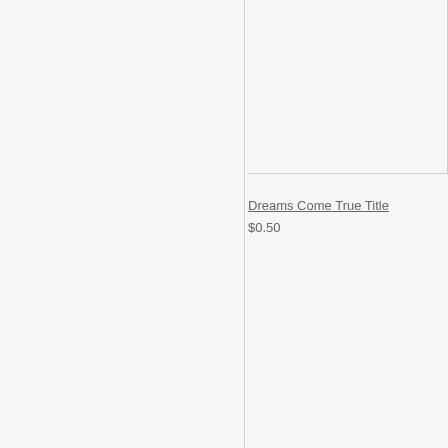[Figure (other): Product image placeholder box, empty white/light gray rectangle with border]
Dreams Come True Title
$0.50